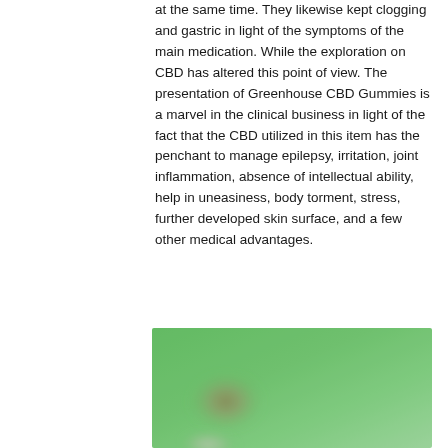at the same time. They likewise kept clogging and gastric in light of the symptoms of the main medication. While the exploration on CBD has altered this point of view. The presentation of Greenhouse CBD Gummies is a marvel in the clinical business in light of the fact that the CBD utilized in this item has the penchant to manage epilepsy, irritation, joint inflammation, absence of intellectual ability, help in uneasiness, body torment, stress, further developed skin surface, and a few other medical advantages.
[Figure (photo): A blurred green background image, possibly showing a product related to Greenhouse CBD Gummies, with an indistinct brownish/white object visible in the lower-left portion.]